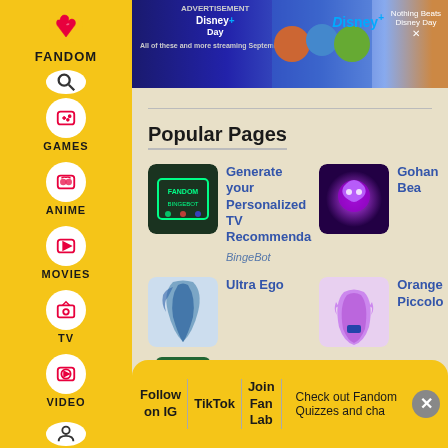[Figure (screenshot): Fandom website left navigation sidebar with logo, Games, Anime, Movies, TV, Video icons]
[Figure (screenshot): Disney+ Day advertisement banner at top of page]
Popular Pages
[Figure (screenshot): BingeBot thumbnail - dark green background with neon text]
Generate your Personalized TV Recommendations BingeBot
[Figure (screenshot): Gohan Beast thumbnail - purple glowing energy]
Gohan Bea
[Figure (photo): Ultra Ego thumbnail - character with blue hair]
Ultra Ego
[Figure (screenshot): Orange Piccolo thumbnail - purple muscular character]
Orange Piccolo
Follow on IG | TikTok | Join Fan Lab | Check out Fandom Quizzes and cha